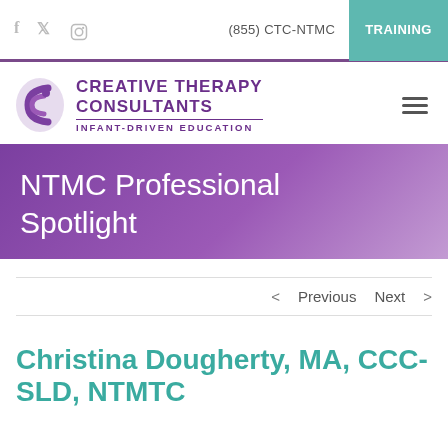f  (twitter)  (instagram)  (855) CTC-NTMC  TRAINING
[Figure (logo): Creative Therapy Consultants logo with stylized C icon and text: CREATIVE THERAPY CONSULTANTS — INFANT-DRIVEN EDUCATION]
NTMC Professional Spotlight
< Previous   Next >
Christina Dougherty, MA, CCC-SLD, NTMTC